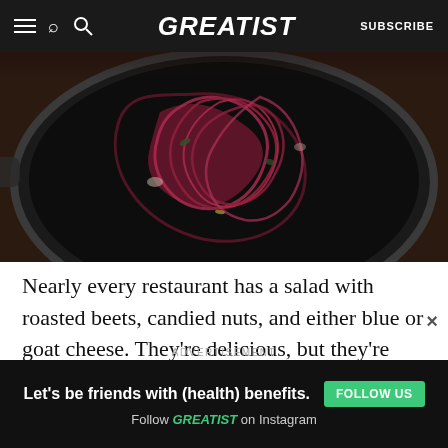GREATIST | SUBSCRIBE
[Figure (photo): Overhead view of a dark cast iron pan containing spiralized red beets with herbs on a wooden surface]
Nearly every restaurant has a salad with roasted beets, candied nuts, and either blue or goat cheese. They’re delicious, but they’re also a little boring. This recipe takes beets to a whole new level with Brussels sprouts, mushrooms, balsamic vinegar, and a little bit of bacon. It’s sweet, savory,
ADVERTISEMENT
[Figure (screenshot): Advertisement banner: Let's be friends with (health) benefits. Follow GREATIST on Instagram. FOLLOW US button.]